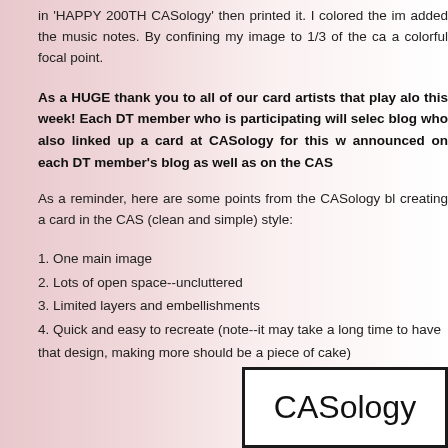In 'HAPPY 200TH CASology' then printed it. I colored the im added the music notes. By confining my image to 1/3 of the ca a colorful focal point.
As a HUGE thank you to all of our card artists that play alo this week! Each DT member who is participating will selec blog who also linked up a card at CASology for this w announced on each DT member's blog as well as on the CAS
As a reminder, here are some points from the CASology bl creating a card in the CAS (clean and simple) style:
1. One main image
2. Lots of open space--uncluttered
3. Limited layers and embellishments
4. Quick and easy to recreate (note--it may take a long time to have that design, making more should be a piece of cake)
[Figure (logo): CASology logo in black text inside a black border rectangle on white background]